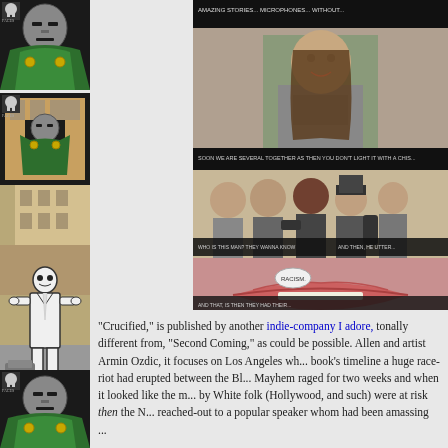[Figure (illustration): Left strip showing comic book artwork: top section has two Dr. Doom panels with green cloak and metal mask on dark background; middle section shows black and white illustration of a figure in white suit/ghost costume standing in front of a building; bottom section shows another Dr. Doom panel with green cloak on dark background.]
[Figure (photo): Right column showing comic book panels: top panel appears to be a photograph/realistic art of a man with long hair, second panel shows a group of people including reporters/journalists with cameras, third panel shows a close-up of lips/mouth with a speech bubble, fourth panel shows scattered objects on the ground.]
"Crucified," is published by another indie-company I adore, tonally different from, "Second Coming," as could be possible. Allen and artist Armin Ozdic, it focuses on Los Angeles wh... book's timeline a huge race-riot had erupted between the Bl... Mayhem raged for two weeks and when it looked like the m... by White folk (Hollywood, and such) were at risk then the N... reached-out to a popular speaker whom had been amassing ...